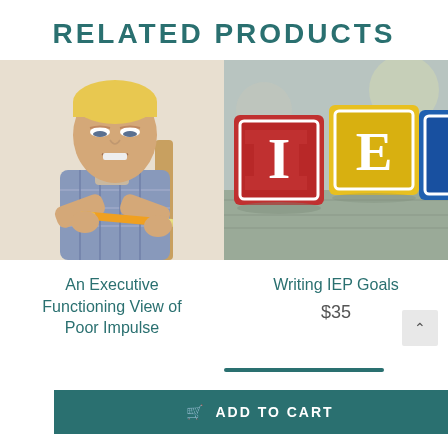RELATED PRODUCTS
[Figure (photo): A young blond boy with a frustrated expression, bending a pencil with both hands, wearing a plaid shirt]
[Figure (photo): Wooden alphabet blocks spelling IEP on a wooden surface, blocks are red, yellow, and blue]
An Executive Functioning View of Poor Impulse
Writing IEP Goals
$35
ADD TO CART